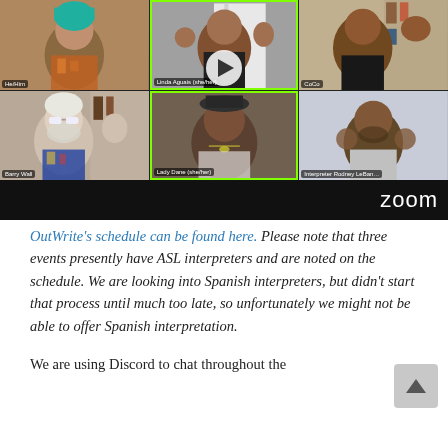[Figure (screenshot): A Zoom video call screenshot showing six participants in a 3x2 grid. Top row: person with teal hair (He/Him pronouns), Linda Aguais (highlighted, host), CoCo. Bottom row: Barry Wall, Lady Dane (she/her, highlighted in green border), Interpreter Rodney LeBan. The Zoom logo appears in the bottom-right corner of the video panel. A play button overlay is visible in the center.]
OutWrite's schedule can be found here. Please note that three events presently have ASL interpreters and are noted on the schedule. We are looking into Spanish interpreters, but didn't start that process until much too late, so unfortunately we might not be able to offer Spanish interpretation.
We are using Discord to chat throughout the